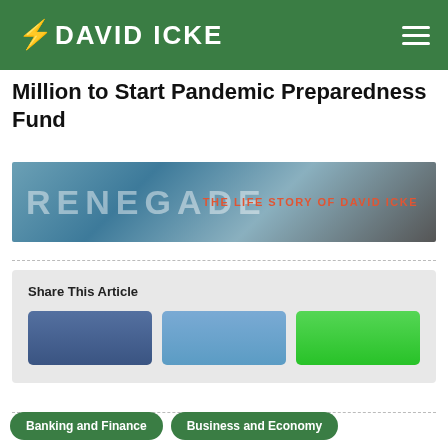DAVID ICKE
Million to Start Pandemic Preparedness Fund
[Figure (photo): RENEGADE: THE LIFE STORY OF DAVID ICKE banner image with teal/blue background]
Share This Article
Banking and Finance
Business and Economy
Coronavirus
Political Manipulation